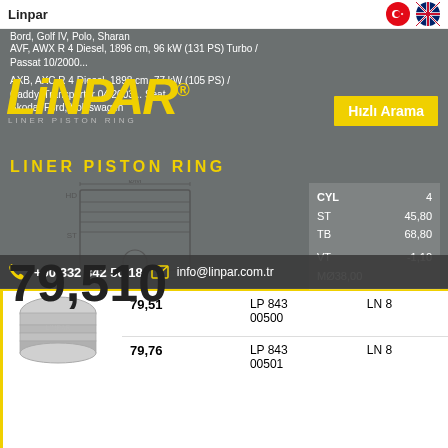Linpar
Bord, Golf IV, Polo, Sharan
AVF, AWX R 4 Diesel, 1896 cm, 96 kW (131 PS) Turbo / Passat 10/2000...
AXB, AXC R 4 Diesel, 1898 cm, 77 kW (105 PS) / Caddy, Transporter 04/2003... Seat, Skoda, Ford, Volkswagen
[Figure (schematic): Piston liner engineering cross-section schematic showing HD, ST dimensions, ØM label]
|  | Size | Part No | Code |
| --- | --- | --- | --- |
|  | 79,51 | LP 843 00500 | LN 8... |
|  | 79,76 | LP 843 00501 | LN 8... |
CYL 4
ST 45,80
TB 68,80
VT -1,10
MØ38,00
+90 332 342 50 18   info@linpar.com.tr